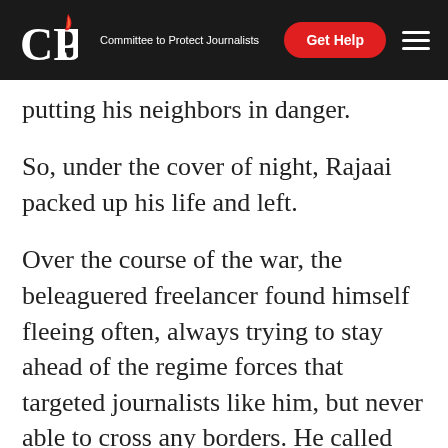CPJ — Committee to Protect Journalists | Get Help
putting his neighbors in danger.
So, under the cover of night, Rajaai packed up his life and left.
Over the course of the war, the beleaguered freelancer found himself fleeing often, always trying to stay ahead of the regime forces that targeted journalists like him, but never able to cross any borders. He called many places “home,” including, at one time, solitary confinement and the inside of a small cell alongside other political prisoners.
In 2019, he and dozens of other journalists were